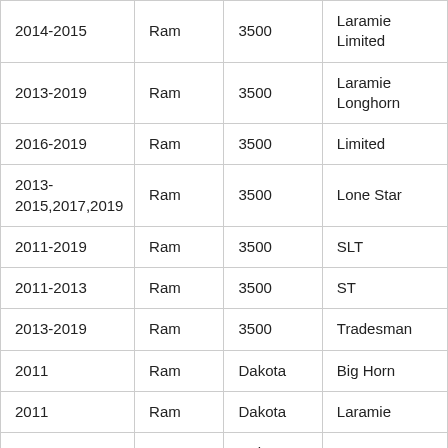| 2014-2015 | Ram | 3500 | Laramie Limited |
| 2013-2019 | Ram | 3500 | Laramie Longhorn |
| 2016-2019 | Ram | 3500 | Limited |
| 2013-2015,2017,2019 | Ram | 3500 | Lone Star |
| 2011-2019 | Ram | 3500 | SLT |
| 2011-2013 | Ram | 3500 | ST |
| 2013-2019 | Ram | 3500 | Tradesman |
| 2011 | Ram | Dakota | Big Horn |
| 2011 | Ram | Dakota | Laramie |
| 2011 | Ram | Dakota | SLT |
| 2011 | Ram | Dakota | ST |